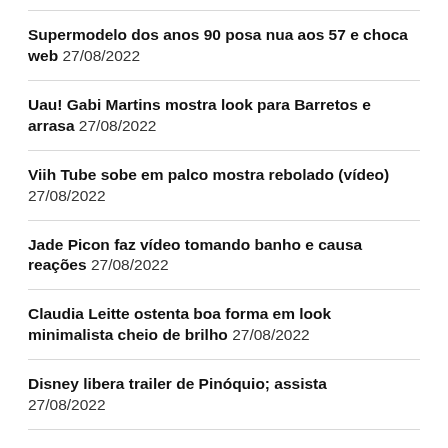Supermodelo dos anos 90 posa nua aos 57 e choca web 27/08/2022
Uau! Gabi Martins mostra look para Barretos e arrasa 27/08/2022
Viih Tube sobe em palco mostra rebolado (vídeo) 27/08/2022
Jade Picon faz vídeo tomando banho e causa reações 27/08/2022
Claudia Leitte ostenta boa forma em look minimalista cheio de brilho 27/08/2022
Disney libera trailer de Pinóquio; assista 27/08/2022